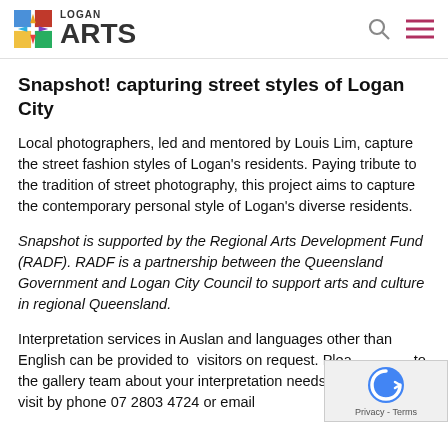LOGAN ARTS
Snapshot! capturing street styles of Logan City
Local photographers, led and mentored by Louis Lim, capture the street fashion styles of Logan's residents. Paying tribute to the tradition of street photography, this project aims to capture the contemporary personal style of Logan's diverse residents.
Snapshot is supported by the Regional Arts Development Fund (RADF). RADF is a partnership between the Queensland Government and Logan City Council to support arts and culture in regional Queensland.
Interpretation services in Auslan and languages other than English can be provided to  visitors on request. Please to the gallery team about your interpretation needs before your visit by phone 07 2803 4724 or email